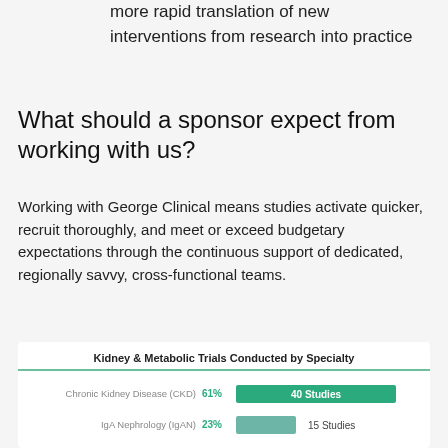more rapid translation of new interventions from research into practice
What should a sponsor expect from working with us?
Working with George Clinical means studies activate quicker, recruit thoroughly, and meet or exceed budgetary expectations through the continuous support of dedicated, regionally savvy, cross-functional teams.
[Figure (bar-chart): Kidney & Metabolic Trials Conducted by Specialty]